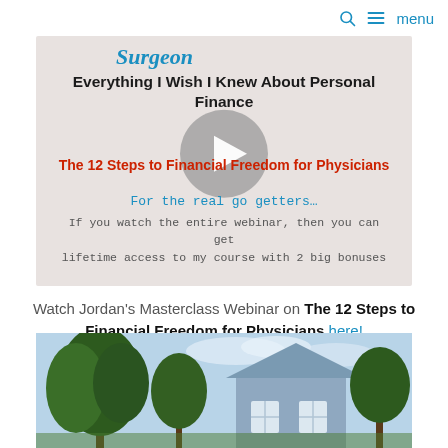🔍  ≡ menu
[Figure (screenshot): Webinar promo banner with play button overlay. Shows partial text 'surgeon' in blue italic, title 'Everything I Wish I Knew About Personal Finance', red subtitle 'The 12 Steps to Financial Freedom for Physicians', blue text 'For the real go getters...', body text about watching the entire webinar for lifetime access with 2 big bonuses. Gray circular play button in center.]
Watch Jordan's Masterclass Webinar on The 12 Steps to Financial Freedom for Physicians here!
[Figure (photo): Outdoor photo showing a blue house with white-trimmed windows, surrounded by green trees, against a light blue sky.]